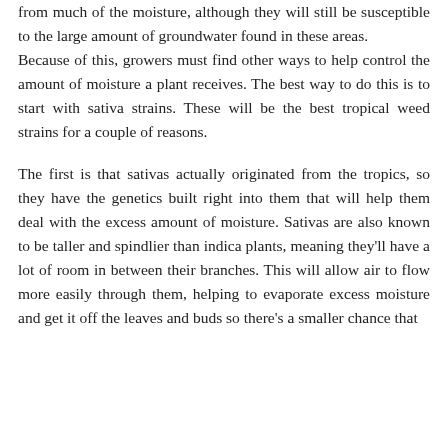from much of the moisture, although they will still be susceptible to the large amount of groundwater found in these areas. Because of this, growers must find other ways to help control the amount of moisture a plant receives. The best way to do this is to start with sativa strains. These will be the best tropical weed strains for a couple of reasons.
The first is that sativas actually originated from the tropics, so they have the genetics built right into them that will help them deal with the excess amount of moisture. Sativas are also known to be taller and spindlier than indica plants, meaning they'll have a lot of room in between their branches. This will allow air to flow more easily through them, helping to evaporate excess moisture and get it off the leaves and buds so there's a smaller chance that